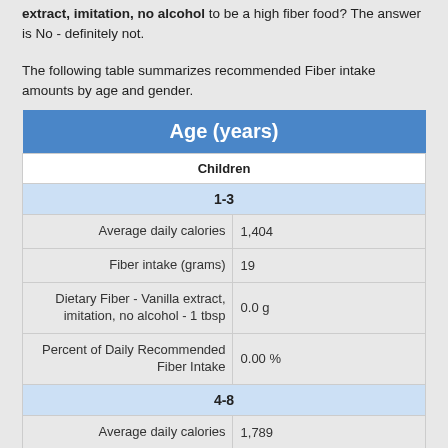extract, imitation, no alcohol to be a high fiber food? The answer is No - definitely not.
The following table summarizes recommended Fiber intake amounts by age and gender.
|  | Age (years) |
| --- | --- |
| Children |  |
| 1-3 |  |
| Average daily calories | 1,404 |
| Fiber intake (grams) | 19 |
| Dietary Fiber - Vanilla extract, imitation, no alcohol - 1 tbsp | 0.0 g |
| Percent of Daily Recommended Fiber Intake | 0.00 % |
| 4-8 |  |
| Average daily calories | 1,789 |
| Fiber intake (grams) | 25 |
| Dietary Fiber - Vanilla extract, imitation, no... | 0.0 g |